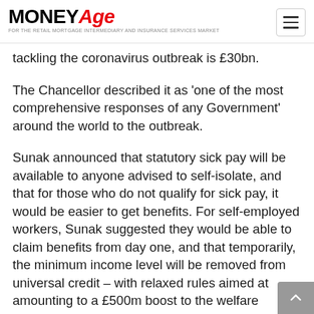MONEYAge
tackling the coronavirus outbreak is £30bn.
The Chancellor described it as 'one of the most comprehensive responses of any Government' around the world to the outbreak.
Sunak announced that statutory sick pay will be available to anyone advised to self-isolate, and that for those who do not qualify for sick pay, it would be easier to get benefits. For self-employed workers, Sunak suggested they would be able to claim benefits from day one, and that temporarily, the minimum income level will be removed from universal credit – with relaxed rules aimed at amounting to a £500m boost to the welfare system.